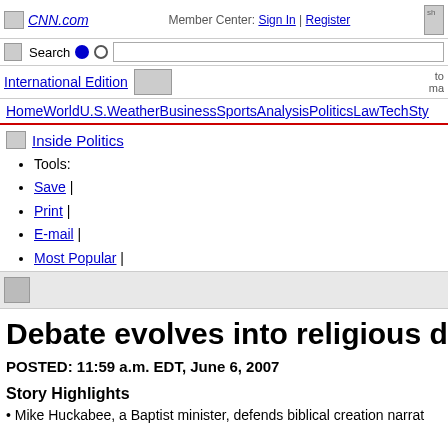CNN.com
Member Center: Sign In | Register
Search — International Edition
Home World U.S. Weather Business Sports Analysis Politics Law Tech Sty
Inside Politics
Tools:
Save |
Print |
E-mail |
Most Popular |
Debate evolves into religious disc
POSTED: 11:59 a.m. EDT, June 6, 2007
Story Highlights
Mike Huckabee, a Baptist minister, defends biblical creation narrat